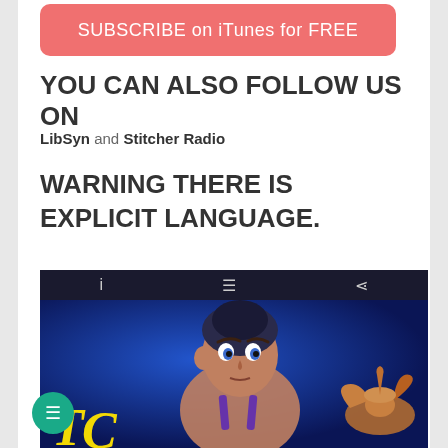[Figure (other): Red/salmon rounded button with text 'SUBSCRIBE on iTunes for FREE']
YOU CAN ALSO FOLLOW US ON
LibSyn and Stitcher Radio
WARNING THERE IS EXPLICIT LANGUAGE.
[Figure (screenshot): Screenshot of a media app showing an animated Aladdin movie image with a dark toolbar at top containing info, list, and share icons, and large yellow stylized text at the bottom. A teal chat button is visible in the bottom-left corner.]